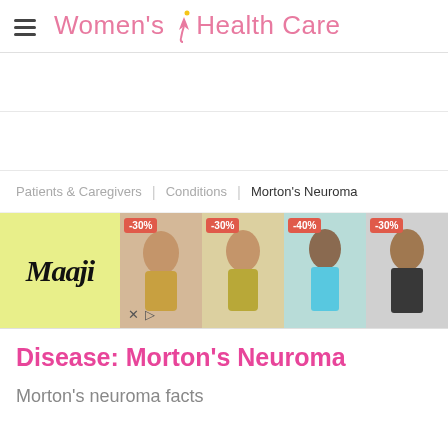Women's Health Care
[Figure (screenshot): Advertisement banner for Maaji swimwear showing logo on yellow-green background and multiple swimsuit models with discount badges: -30%, -30%, -40%, -30%]
Patients & Caregivers | Conditions | Morton's Neuroma
Disease: Morton's Neuroma
Morton's neuroma facts